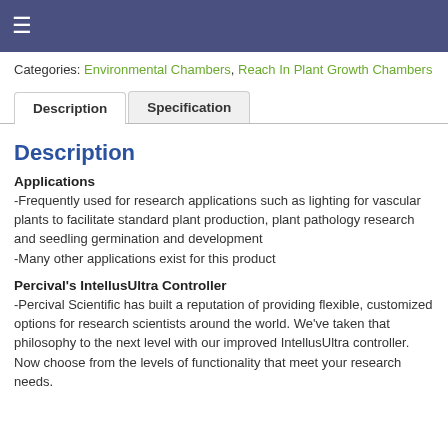≡
Categories: Environmental Chambers, Reach In Plant Growth Chambers
Description | Specification (tabs)
Description
Applications
-Frequently used for research applications such as lighting for vascular plants to facilitate standard plant production, plant pathology research and seedling germination and development
-Many other applications exist for this product
Percival's IntellusUltra Controller
-Percival Scientific has built a reputation of providing flexible, customized options for research scientists around the world. We've taken that philosophy to the next level with our improved IntellusUltra controller. Now choose from the levels of functionality that meet your research needs.